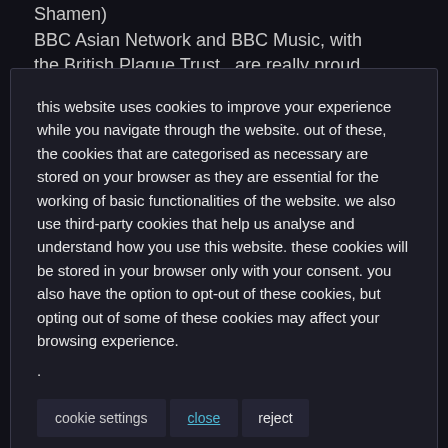Shamen)
BBC Asian Network and BBC Music, with the British Plaque Trust,  are really proud to honour music icons with the first Blue
this website uses cookies to improve your experience while you navigate through the website. out of these, the cookies that are categorised as necessary are stored on your browser as they are essential for the working of basic functionalities of the website. we also use third-party cookies that help us analyse and understand how you use this website. these cookies will be stored in your browser only with your consent. you also have the option to opt-out of these cookies, but opting out of some of these cookies may affect your browsing experience.
.
cookie settings   close   reject
#asianunderground, #BankHolidayMonday, #bbcasiannetwork, #bobbyfriction, #Joi #JoiSoundSystem, #RealWorldRecords, BBC 1 Xtra, Colin Angus, Easter Bank holiday, haroon shamsher, joi, Joi Bangla, joi